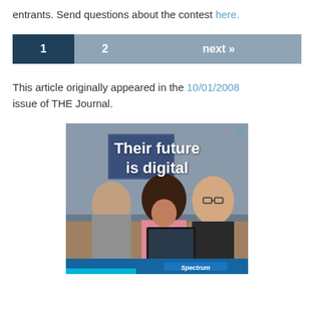entrants. Send questions about the contest here.
[Figure (other): Pagination bar with page 1 active (dark blue), page 2 and next >> in grey-blue]
This article originally appeared in the 10/01/2008 issue of THE Journal.
[Figure (photo): Advertisement showing three children in a classroom with tablet device, overlaid text reading 'Their future is digital', with a close button X and a blue bottom bar with sponsor logo text]